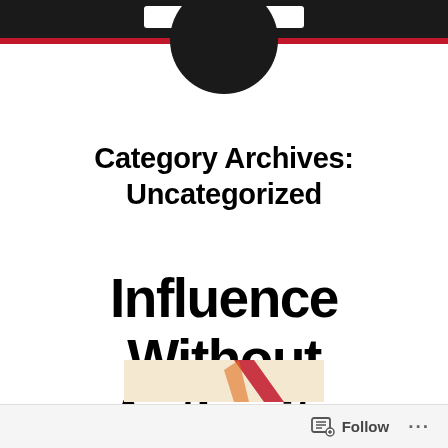Category Archives: Uncategorized
Influence Without Authority
[Figure (illustration): Partial image visible at the bottom, showing what appears to be a graduation cap or similar scene with red and warm-toned colors]
Follow ...